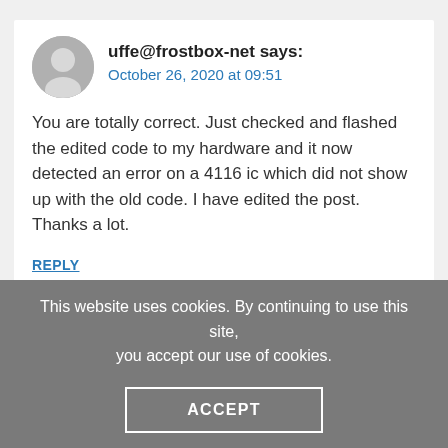uffe@frostbox-net says: October 26, 2020 at 09:51
You are totally correct. Just checked and flashed the edited code to my hardware and it now detected an error on a 4116 ic which did not show up with the old code. I have edited the post. Thanks a lot.
REPLY
This website uses cookies. By continuing to use this site, you accept our use of cookies.
ACCEPT